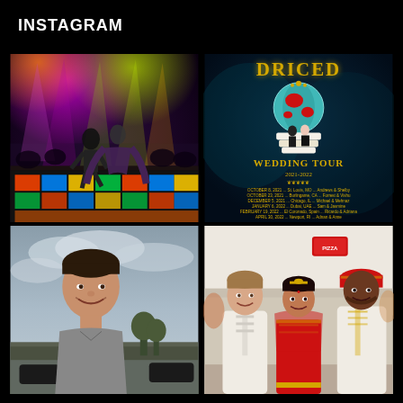INSTAGRAM
[Figure (photo): Dance performance on a colorful LED dance floor with purple and yellow stage lights, two people dancing on a patterned floor, audience in background]
[Figure (photo): Wedding tour promotional poster with teal/dark background, globe on wedding cake, couple in formal wear, title 'DRICED WEDDING TOUR 2021-2022' with tour dates listed]
[Figure (photo): Young man smiling outdoors in a parking lot, overcast sky, wearing a gray t-shirt]
[Figure (photo): Three people posing at a wedding venue - a man in white sherwani, a woman in red and gold bridal attire, and another man in white sherwani with gold details]